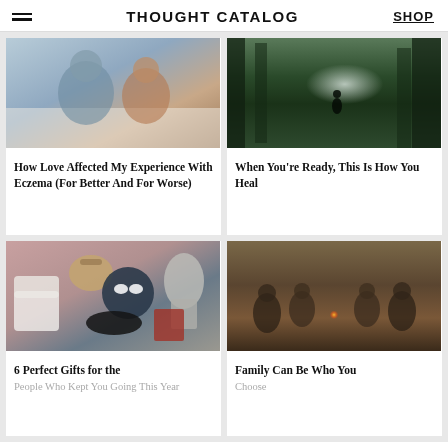THOUGHT CATALOG | SHOP
[Figure (photo): Couple lying on bed looking at each other]
How Love Affected My Experience With Eczema (For Better And For Worse)
[Figure (photo): Person standing in a misty green forest with waterfall]
When You’re Ready, This Is How You Heal
[Figure (photo): Collage of gift items including a handbag, face mask, sneakers, mixer, candles]
6 Perfect Gifts for the
People Who Kept You Going This Year
[Figure (photo): Group of friends sitting around a campfire outdoors]
Family Can Be Who You
Choose